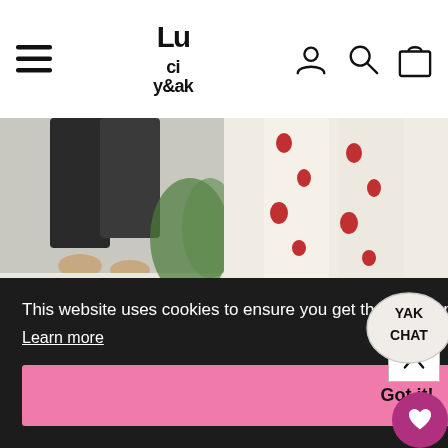[Figure (screenshot): Lucy & Yak website header with hamburger menu, logo, user icon, search icon, and shopping bag icon]
[Figure (photo): Photo of Chuck Trousers in black, showing person's legs and bare feet]
Chuck Trousers: ORGANIC COTTON - Black
★★★★½ 74 reviews
$49.00
[Figure (photo): Photo of L.E. Addison Jeans in Rosella floral print]
L.E. Addison Jeans: ORGANIC TWILL - Rosella
★★★★½ 39 reviews
$67.00
This website uses cookies to ensure you get the best experience on our website.
Learn more
Got it!